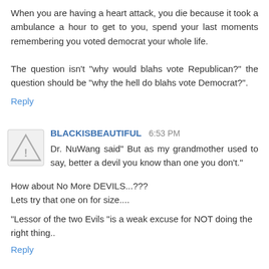When you are having a heart attack, you die because it took a ambulance a hour to get to you, spend your last moments remembering you voted democrat your whole life.

The question isn't "why would blahs vote Republican?" the question should be "why the hell do blahs vote Democrat?".
Reply
BLACKISBEAUTIFUL  6:53 PM
Dr. NuWang said" But as my grandmother used to say, better a devil you know than one you don't."

How about No More DEVILS...???
Lets try that one on for size....

"Lessor of the two Evils "is a weak excuse for NOT doing the right thing..
Reply